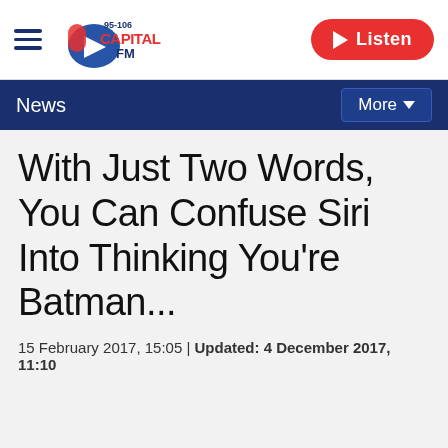[Figure (logo): Capital FM 95-106 radio station logo with hamburger menu icon on the left]
Listen
News
With Just Two Words, You Can Confuse Siri Into Thinking You're Batman...
15 February 2017, 15:05 | Updated: 4 December 2017, 11:10